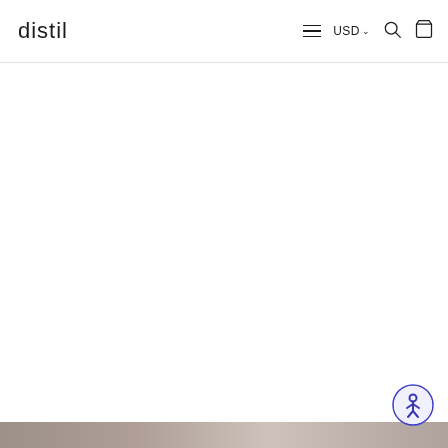distil — USD — navigation, search, cart icons
[Figure (screenshot): Website screenshot of 'distil' e-commerce store header with logo on left, hamburger menu, USD currency selector, search icon, and cart icon on right. White content area below with accessibility button (circle with person icon in blue/purple) in bottom-right corner. Partial image strip at very bottom.]